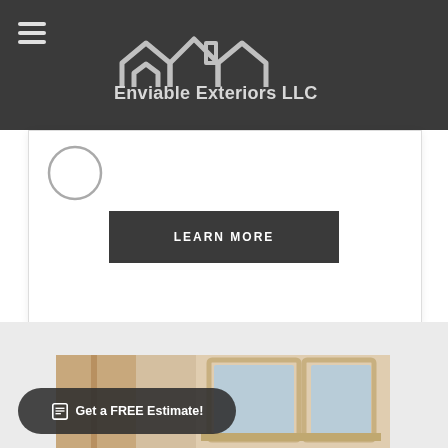[Figure (logo): Enviable Exteriors LLC logo with roofline graphic on dark background header bar]
[Figure (screenshot): Partial white card section with circle icon and a dark 'LEARN MORE' button]
LEARN MORE
[Figure (photo): Photo of exterior windows/door trim of a house, beige/cream colored siding]
Get a FREE Estimate!